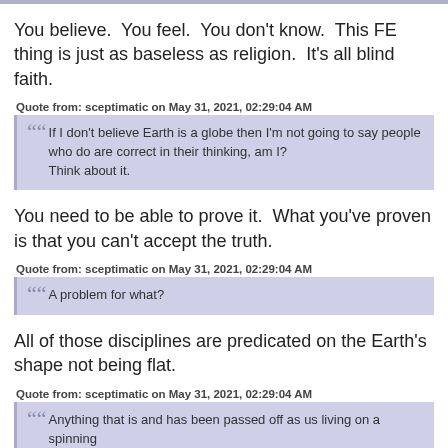You believe.  You feel.  You don't know.  This FE thing is just as baseless as religion.  It's all blind faith.
Quote from: sceptimatic on May 31, 2021, 02:29:04 AM
If I don't believe Earth is a globe then I'm not going to say people who do are correct in their thinking, am I?
Think about it.
You need to be able to prove it.  What you've proven is that you can't accept the truth.
Quote from: sceptimatic on May 31, 2021, 02:29:04 AM
A problem for what?
All of those disciplines are predicated on the Earth's shape not being flat.
Quote from: sceptimatic on May 31, 2021, 02:29:04 AM
Anything that is and has been passed off as us living on a spinning...